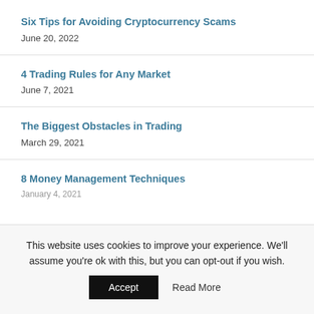Six Tips for Avoiding Cryptocurrency Scams
June 20, 2022
4 Trading Rules for Any Market
June 7, 2021
The Biggest Obstacles in Trading
March 29, 2021
8 Money Management Techniques
January 4, 2021
This website uses cookies to improve your experience. We'll assume you're ok with this, but you can opt-out if you wish. Accept Read More